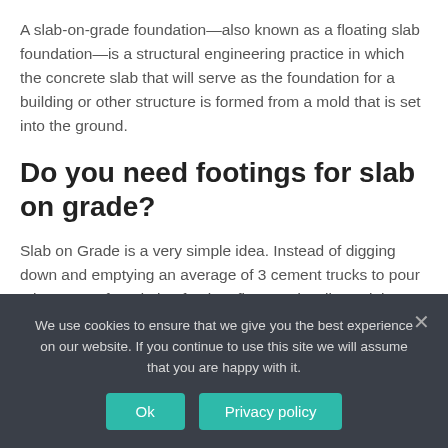A slab-on-grade foundation—also known as a floating slab foundation—is a structural engineering practice in which the concrete slab that will serve as the foundation for a building or other structure is formed from a mold that is set into the ground.
Do you need footings for slab on grade?
Slab on Grade is a very simple idea. Instead of digging down and emptying an average of 3 cement trucks to pour a basement foundation footing, floor, and walls; A slab foundation only requires you to level the ground your
We use cookies to ensure that we give you the best experience on our website. If you continue to use this site we will assume that you are happy with it.